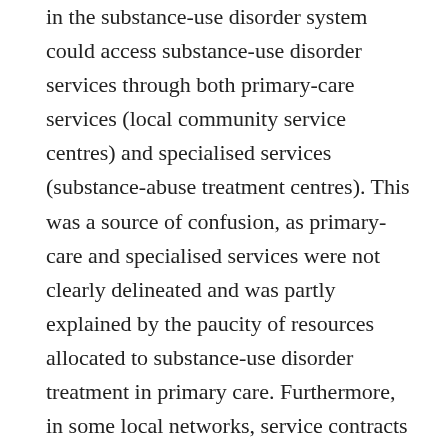in the substance-use disorder system could access substance-use disorder services through both primary-care services (local community service centres) and specialised services (substance-abuse treatment centres). This was a source of confusion, as primary-care and specialised services were not clearly delineated and was partly explained by the paucity of resources allocated to substance-use disorder treatment in primary care. Furthermore, in some local networks, service contracts were signed by both the health and social service centre and public substance-abuse treatment centre in an effort to optimise service coordination between them. Yet, according to some managers in those organisations, service contracts did not guarantee real service integration, given the many